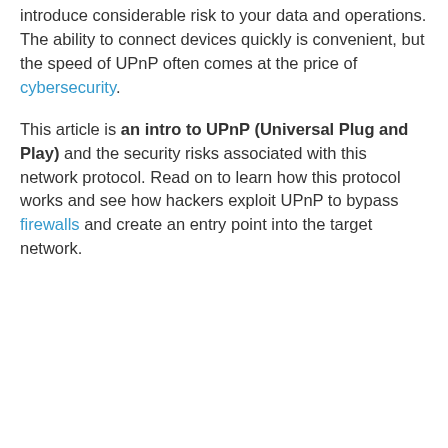introduce considerable risk to your data and operations. The ability to connect devices quickly is convenient, but the speed of UPnP often comes at the price of cybersecurity.
This article is an intro to UPnP (Universal Plug and Play) and the security risks associated with this network protocol. Read on to learn how this protocol works and see how hackers exploit UPnP to bypass firewalls and create an entry point into the target network.